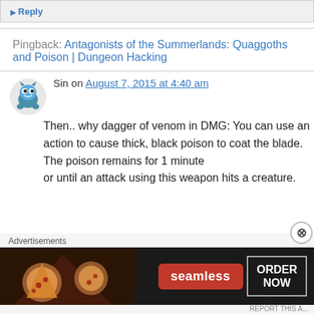▶ Reply
Pingback: Antagonists of the Summerlands: Quaggoths and Poison | Dungeon Hacking
Sin on August 7, 2015 at 4:40 am
Then.. why dagger of venom in DMG: You can use an action to cause thick, black poison to coat the blade. The poison remains for 1 minute or until an attack using this weapon hits a creature.
Advertisements
[Figure (other): Seamless food delivery advertisement banner with pizza image, Seamless logo in red, and ORDER NOW button]